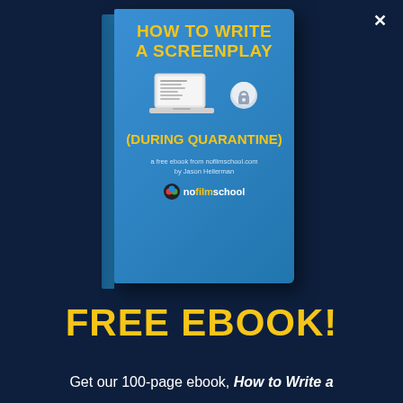[Figure (illustration): 3D book cover tilted at an angle showing the title 'HOW TO WRITE A SCREENPLAY (DURING QUARANTINE)' on a blue background with yellow text, featuring a laptop illustration and nofilmschool.com branding by Jason Hellerman]
FREE EBOOK!
Get our 100-page ebook, How to Write a